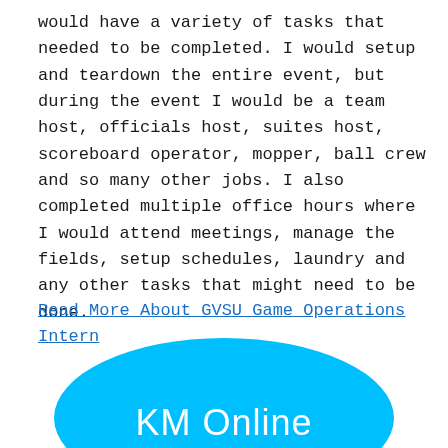would have a variety of tasks that needed to be completed. I would setup and teardown the entire event, but during the event I would be a team host, officials host, suites host, scoreboard operator, mopper, ball crew and so many other jobs. I also completed multiple office hours where I would attend meetings, manage the fields, setup schedules, laundry and any other tasks that might need to be done.
Read More About GVSU Game Operations Intern
[Figure (logo): Blue oval/ellipse logo with white text reading 'KM Online']